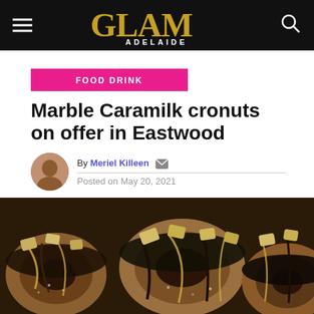GLAM Adelaide
FOOD DRINK
Marble Caramilk cronuts on offer in Eastwood
By Meriel Killeen
Posted on May 20, 2021
[Figure (photo): Close-up photo of marble Caramilk cronuts decorated with dark chocolate drizzle and caramel chocolate pieces]